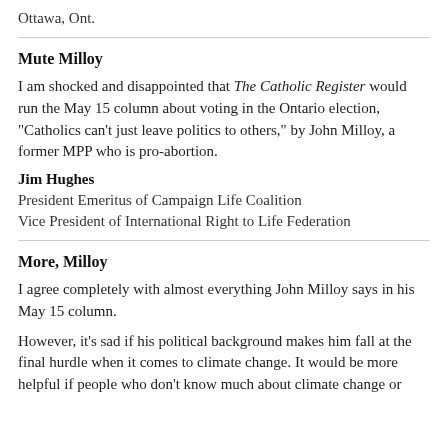Ottawa, Ont.
Mute Milloy
I am shocked and disappointed that The Catholic Register would run the May 15 column about voting in the Ontario election, "Catholics can't just leave politics to others," by John Milloy, a former MPP who is pro-abortion.
Jim Hughes
President Emeritus of Campaign Life Coalition
Vice President of International Right to Life Federation
More, Milloy
I agree completely with almost everything John Milloy says in his May 15 column.
However, it's sad if his political background makes him fall at the final hurdle when it comes to climate change. It would be more helpful if people who don't know much about climate change or